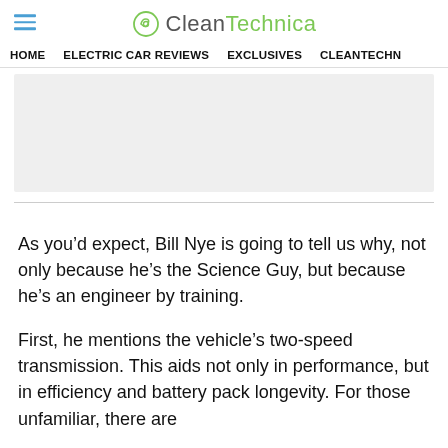CleanTechnica
HOME | ELECTRIC CAR REVIEWS | EXCLUSIVES | CLEANTECHN
[Figure (other): Advertisement placeholder banner (light gray rectangle)]
As you’d expect, Bill Nye is going to tell us why, not only because he’s the Science Guy, but because he’s an engineer by training.
First, he mentions the vehicle’s two-speed transmission. This aids not only in performance, but in efficiency and battery pack longevity. For those unfamiliar, there are